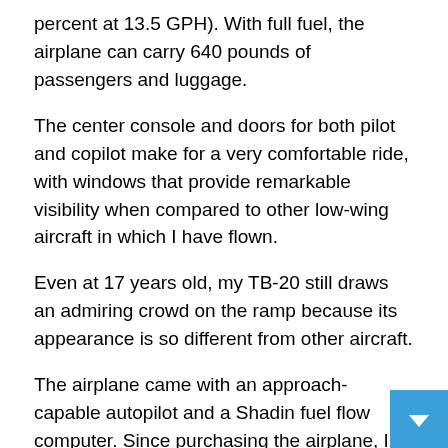percent at 13.5 GPH). With full fuel, the airplane can carry 640 pounds of passengers and luggage.
The center console and doors for both pilot and copilot make for a very comfortable ride, with windows that provide remarkable visibility when compared to other low-wing aircraft in which I have flown.
Even at 17 years old, my TB-20 still draws an admiring crowd on the ramp because its appearance is so different from other aircraft.
The airplane came with an approach-capable autopilot and a Shadin fuel flow computer. Since purchasing the airplane, I have added a Stormscope WX-950, an Bendix/King KLN 90A IFR GPS, a three-blade propeller (no noticeable change in performance, but more ground clearance when parking in